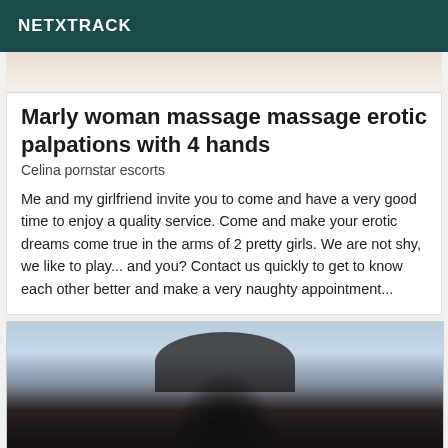NETXTRACK
[Figure (photo): Partial top strip of a photo, light-colored background]
Marly woman massage massage erotic palpations with 4 hands
Celina pornstar escorts
Me and my girlfriend invite you to come and have a very good time to enjoy a quality service. Come and make your erotic dreams come true in the arms of 2 pretty girls. We are not shy, we like to play... and you? Contact us quickly to get to know each other better and make a very naughty appointment...
[Figure (photo): Close-up photo of a young woman with dark hair, sky background]